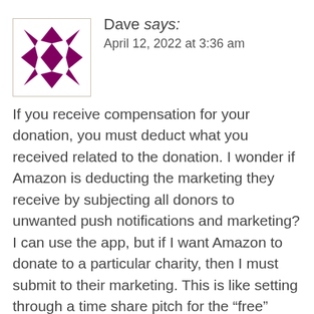[Figure (illustration): Decorative avatar icon: a square bordered image with a quilt-pattern design using dark maroon/purple triangles and diamond shapes arranged symmetrically.]
Dave says:
April 12, 2022 at 3:36 am
If you receive compensation for your donation, you must deduct what you received related to the donation. I wonder if Amazon is deducting the marketing they receive by subjecting all donors to unwanted push notifications and marketing? I can use the app, but if I want Amazon to donate to a particular charity, then I must submit to their marketing. This is like setting through a time share pitch for the “free” vacation, only much worse. If